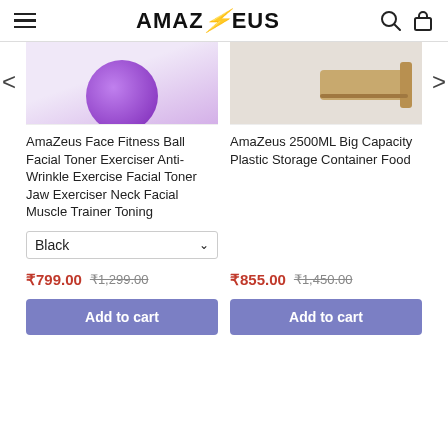AMAZEUS
[Figure (screenshot): Partial product image showing purple ball (face fitness product)]
[Figure (screenshot): Partial product image showing wooden cutting board / storage container on beige background]
AmaZeus Face Fitness Ball Facial Toner Exerciser Anti-Wrinkle Exercise Facial Toner Jaw Exerciser Neck Facial Muscle Trainer Toning
AmaZeus 2500ML Big Capacity Plastic Storage Container Food
Black (dropdown)
₹799.00  ₹1,299.00
₹855.00  ₹1,450.00
Add to cart
Add to cart